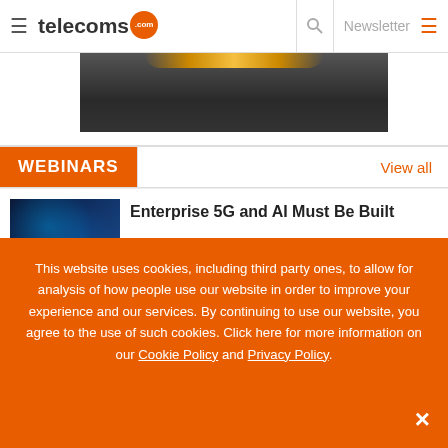telecoms.com - Newsletter
[Figure (photo): Dark banner/advertisement with orange glowing light strip at the top center]
WEBINARS
View all
[Figure (photo): Thumbnail image with dark blue/teal network or technology background with glowing dots]
Enterprise 5G and AI Must Be Built
This website uses cookies, including third party ones, to allow for analysis of how people use our website in order to improve your experience and our services. By continuing to use our website, you agree to the use of such cookies. Click here for more information on our Cookie Policy and Privacy Policy.